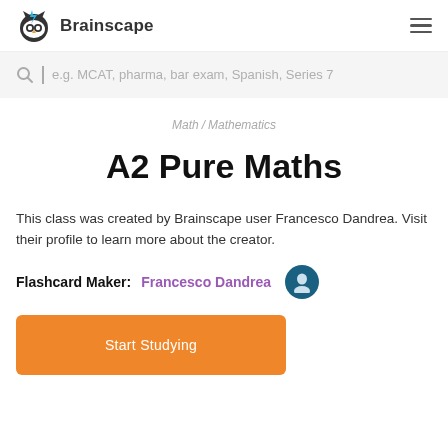[Figure (logo): Brainscape logo with owl icon and text 'Brainscape']
e.g. MCAT, pharma, bar exam, Spanish, Series 7
Math / Mathematics
A2 Pure Maths
This class was created by Brainscape user Francesco Dandrea. Visit their profile to learn more about the creator.
Flashcard Maker:  Francesco Dandrea
Start Studying